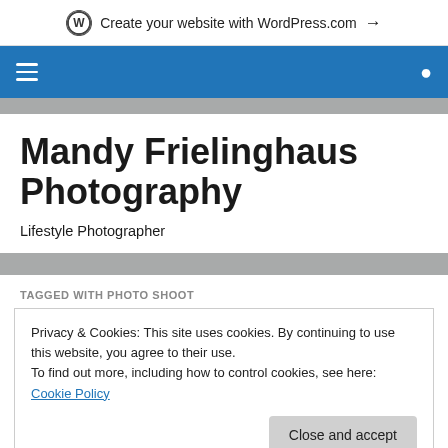Create your website with WordPress.com →
[Figure (screenshot): WordPress.com blue navigation bar with hamburger menu icon on left and search icon on right]
Mandy Frielinghaus Photography
Lifestyle Photographer
TAGGED WITH PHOTO SHOOT
Privacy & Cookies: This site uses cookies. By continuing to use this website, you agree to their use.
To find out more, including how to control cookies, see here: Cookie Policy
Close and accept